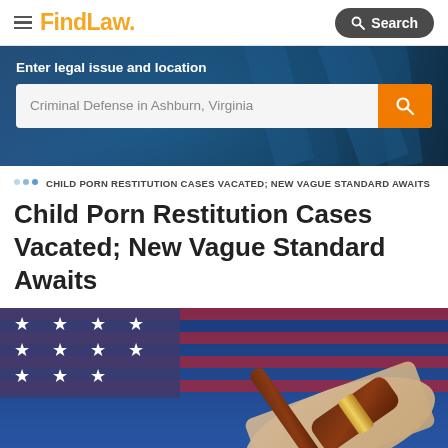FindLaw — Search
[Figure (screenshot): FindLaw website hero banner with dark blue background showing legal books/scales. Contains 'Enter legal issue and location' label and a search bar with placeholder 'Criminal Defense in Ashburn, Virginia' and an orange search button.]
CHILD PORN RESTITUTION CASES VACATED; NEW VAGUE STANDARD AWAITS
Child Porn Restitution Cases Vacated; New Vague Standard Awaits
[Figure (photo): Photo of an American flag with stars visible, and a judge's wooden gavel with gold band resting on what appears to be a rolled document or scroll, suggesting legal/constitutional context.]